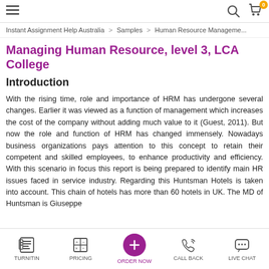≡   🔍  🛒 0
Instant Assignment Help Australia > Samples > Human Resource Management
Managing Human Resource, level 3, LCA College
Introduction
With the rising time, role and importance of HRM has undergone several changes. Earlier it was viewed as a function of management which increases the cost of the company without adding much value to it (Guest, 2011). But now the role and function of HRM has changed immensely. Nowadays business organizations pays attention to this concept to retain their competent and skilled employees, to enhance productivity and efficiency. With this scenario in focus this report is being prepared to identify main HR issues faced in service industry. Regarding this Huntsman Hotels is taken into account. This chain of hotels has more than 60 hotels in UK. The MD of Huntsman is Giuseppe
TURNITIN   PRICING   ORDER NOW   CALL BACK   LIVE CHAT